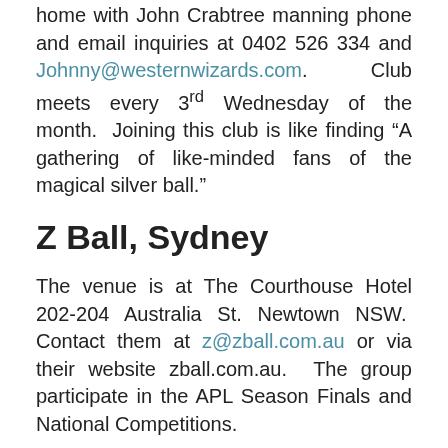home with John Crabtree manning phone and email inquiries at 0402 526 334 and Johnny@westernwizards.com.  Club meets every 3rd Wednesday of the month.  Joining this club is like finding “A gathering of like-minded fans of the magical silver ball.”
Z Ball, Sydney
The venue is at The Courthouse Hotel 202-204 Australia St. Newtown NSW.  Contact them at z@zball.com.au or via their website zball.com.au.  The group participate in the APL Season Finals and National Competitions.
[Figure (other): Z Ball logo image placeholder]